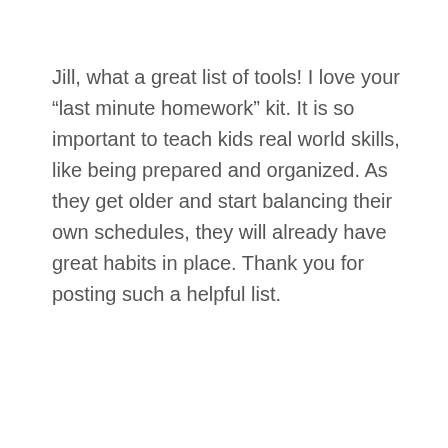Jill, what a great list of tools! I love your “last minute homework” kit. It is so important to teach kids real world skills, like being prepared and organized. As they get older and start balancing their own schedules, they will already have great habits in place. Thank you for posting such a helpful list.